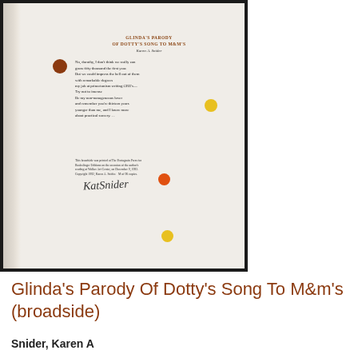[Figure (photo): Photograph of a broadside poetry print on textured paper with colored dots (brown, yellow, orange). The broadside shows 'GLINDA'S PARODY OF DOTTY'S SONG TO M&M'S' by Karen A. Snider, with poem text and colophon, plus a handwritten signature.]
Glinda's Parody Of Dotty's Song To M&m's (broadside)
Snider, Karen A